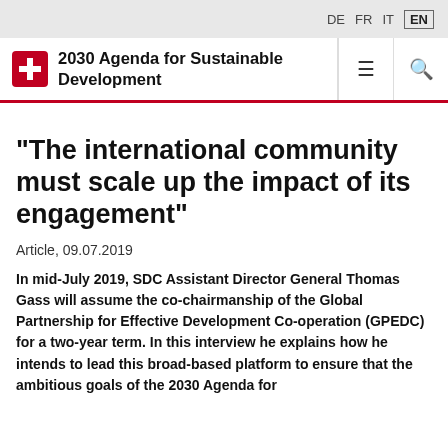DE  FR  IT  EN
2030 Agenda for Sustainable Development
"The international community must scale up the impact of its engagement"
Article, 09.07.2019
In mid-July 2019, SDC Assistant Director General Thomas Gass will assume the co-chairmanship of the Global Partnership for Effective Development Co-operation (GPEDC) for a two-year term. In this interview he explains how he intends to lead this broad-based platform to ensure that the ambitious goals of the 2030 Agenda for